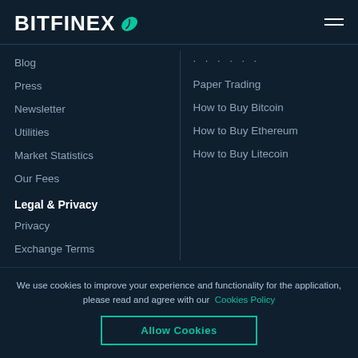[Figure (logo): Bitfinex logo with green leaf icon on dark navy background]
Blog
Press
Newsletter
Utilities
Market Statistics
Our Fees
Paper Trading
How to Buy Bitcoin
How to Buy Ethereum
How to Buy Litecoin
Legal & Privacy
Privacy
Exchange Terms
We use cookies to improve your experience and functionality for the application, please read and agree with our Cookies Policy
Allow Cookies